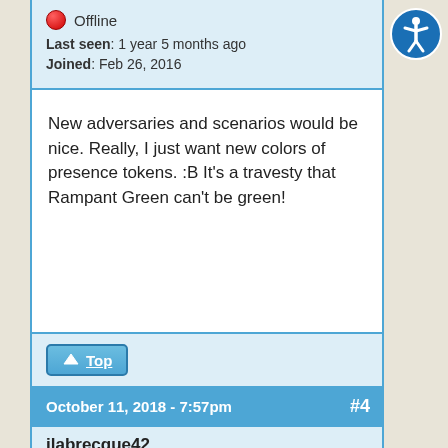Offline
Last seen: 1 year 5 months ago
Joined: Feb 26, 2016
New adversaries and scenarios would be nice. Really, I just want new colors of presence tokens. :B It's a travesty that Rampant Green can't be green!
Top
October 11, 2018 - 7:57pm  #4
jlabrecque42
Offline
Last seen: 2 years 3 months ago
Joined: Dec 01, 2015
...